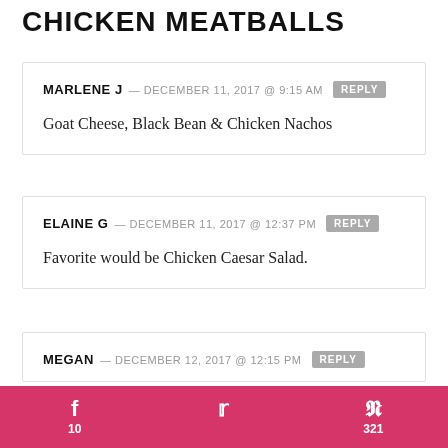CHICKEN MEATBALLS
MARLENE J — DECEMBER 11, 2017 @ 9:15 AM [REPLY]
Goat Cheese, Black Bean & Chicken Nachos
ELAINE G — DECEMBER 11, 2017 @ 12:37 PM [REPLY]
Favorite would be Chicken Caesar Salad.
MEGAN — DECEMBER 12, 2017 @ 12:15 PM [REPLY]
My fave chicken appy is boneless bites with a
f 10   [twitter]   p 321